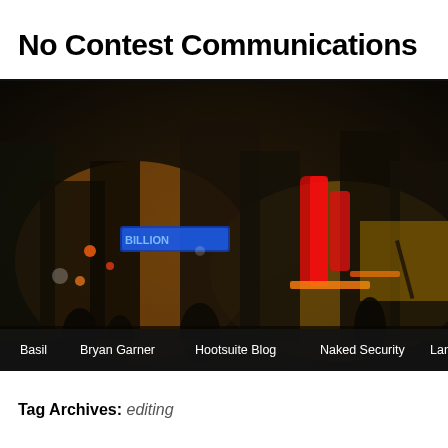No Contest Communications
[Figure (photo): Blurry night cityscape with neon lights in red, yellow, blue colors. A navigation bar at the bottom shows links: Basil, Bryan Garner, Hootsuite Blog, Naked Security, Language...]
Tag Archives: editing